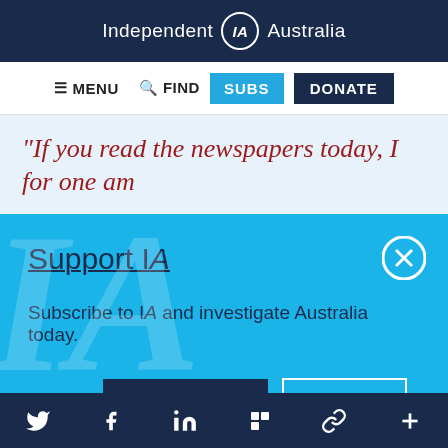Independent IA Australia
MENU  FIND  SUBS  DONATE
"If you read the newspapers today, I for one am
Support IA
Subscribe to IA and investigate Australia today.
Close  Subscribe  Donate
Twitter  Facebook  LinkedIn  Flipboard  Link  Plus